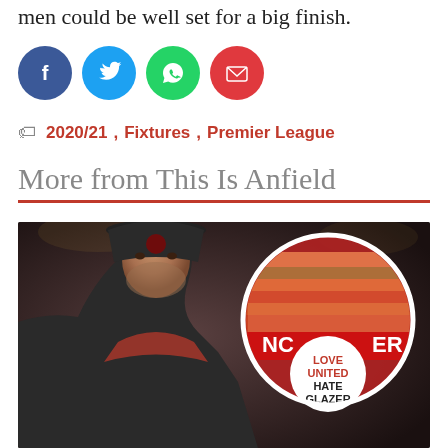men could be well set for a big finish.
[Figure (infographic): Row of four social share buttons: Facebook (blue), Twitter (cyan), WhatsApp (green), Email (red)]
2020/21, Fixtures, Premier League
More from This Is Anfield
[Figure (photo): Photo of Jurgen Klopp wearing a dark cap, with an inset circular photo of a football crowd holding a banner reading 'LOVE UNITED HATE GLAZER' with partial text 'NC' and 'ER' visible on the background banner.]